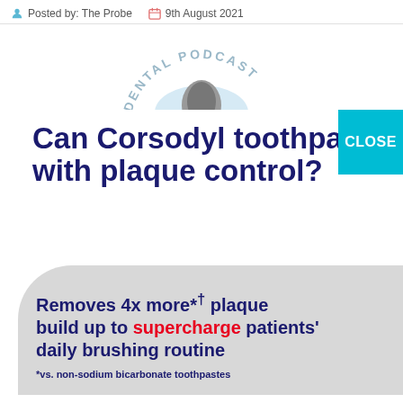Posted by: The Probe   9th August 2021
[Figure (logo): Dental Podcast logo — circular logo with text 'DENTAL PODCAST' arched above a blue circle with a grey microphone/tooth shape]
Can Corsodyl toothpaste with plaque control?
Removes 4x more*† plaque build up to supercharge patients' daily brushing routine
*vs. non-sodium bicarbonate toothpastes